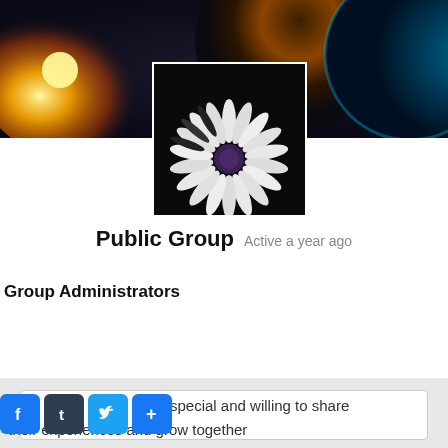[Figure (photo): Banner image: orange/yellow flare on left, dark planet-like sphere with teal/blue glow on right side, space background]
[Figure (photo): Profile picture: white daisy flower with purple center on black background]
Public Group  Active a year ago
Group Administrators
[Figure (photo): Administrator avatar: purple background with text/image overlay]
People special and willing to share their experiences and grow together
[Figure (infographic): Social share buttons: Facebook (blue f), Tumblr (dark t), Twitter (blue bird), Plus (blue +)]